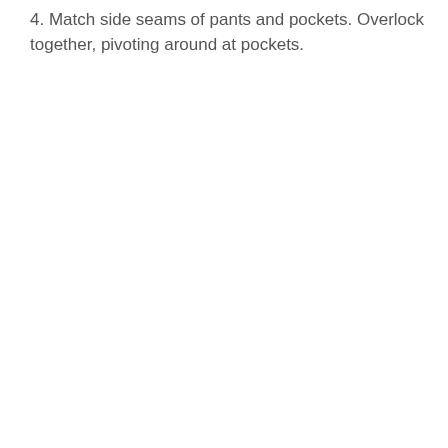4. Match side seams of pants and pockets. Overlock together, pivoting around at pockets.